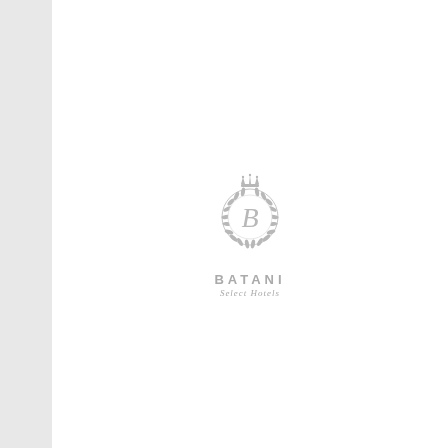[Figure (logo): Batani Select Hotels logo: a circular laurel wreath with a crown at the top and a decorative 'B' letter in the center, rendered in light gray. Below the emblem: 'BATANI' in spaced uppercase letters and 'Select Hotels' in italic script.]